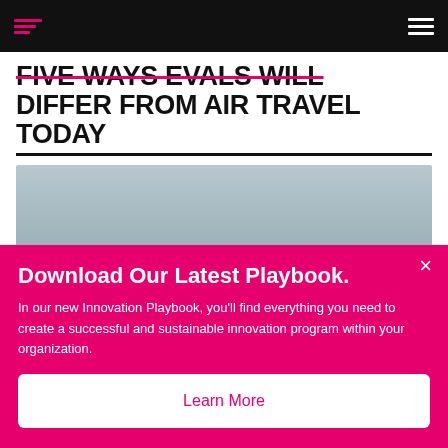FIVE WAYS EVALS WILL DIFFER FROM AIR TRAVEL TODAY
[Figure (photo): Gray gradient photo placeholder area]
Download Our Latest Playbook.
In our new Innovation Playbook, you'll find everything you need to create a successful and sustainable innovation program within your organization.
Learn More